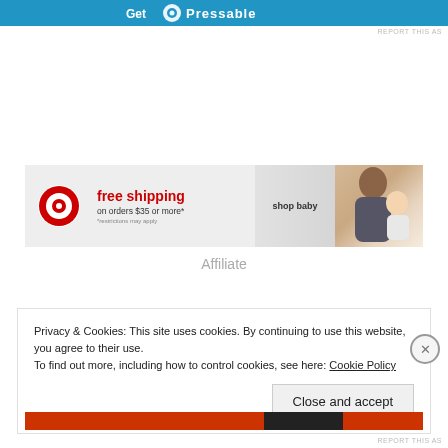[Figure (screenshot): Top blue banner ad for Pressable with white bold text 'Get Pressable']
REPORT THIS AS
[Figure (screenshot): Target advertisement banner: Target bullseye logo, 'free shipping on orders $35 or more*' text in red, 'shop baby' text, and photo of mother and baby]
Affiliate
Privacy & Cookies: This site uses cookies. By continuing to use this website, you agree to their use.
To find out more, including how to control cookies, see here: Cookie Policy
Close and accept
[Figure (screenshot): Bottom red and dark strip advertisement]
REPORT THIS AS